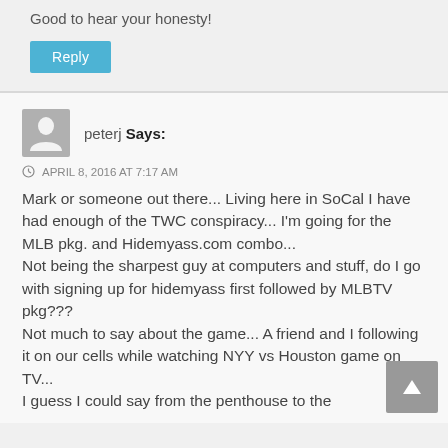Good to hear your honesty!
Reply
peterj Says:
APRIL 8, 2016 AT 7:17 AM
Mark or someone out there... Living here in SoCal I have had enough of the TWC conspiracy... I'm going for the MLB pkg. and Hidemyass.com combo...
Not being the sharpest guy at computers and stuff, do I go with signing up for hidemyass first followed by MLBTV pkg???
Not much to say about the game... A friend and I following it on our cells while watching NYY vs Houston game on TV...
I guess I could say from the penthouse to the